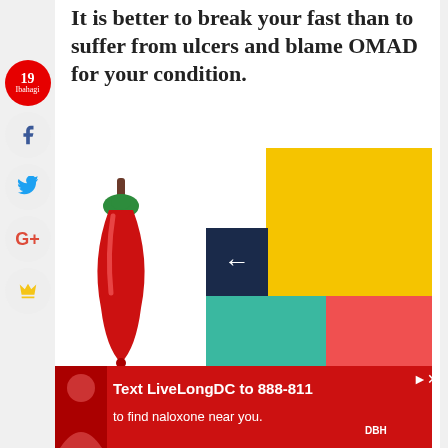It is better to break your fast than to suffer from ulcers and blame OMAD for your condition.
[Figure (illustration): Red chili pepper emoji illustration with green stem and brown top]
[Figure (infographic): Colored block squares: large yellow top-right, small dark navy with left arrow top-left, teal bottom-left, red bottom-right]
Image
[Figure (infographic): Social share sidebar with red circle showing 19 shares (Ibahagi), facebook, twitter, Google+, and crown icons]
[Figure (screenshot): Advertisement banner: Text LiveLongDC to 888-811 to find naloxone near you. DBH logo.]